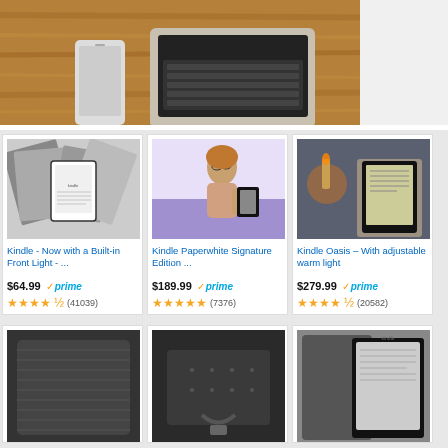[Figure (photo): Top-down view of a laptop and smartphone on a wooden surface]
[Figure (photo): Kindle device with books around it]
Kindle - Now with a Built-in Front Light - ...
$64.99 prime
★★★★½ (41039)
[Figure (photo): Woman reading Kindle Paperwhite in gym]
Kindle Paperwhite Signature Edition ...
$189.99 prime
★★★★★ (7376)
[Figure (photo): Person reading Kindle Oasis in dim light near candles]
Kindle Oasis – With adjustable warm light
$279.99 prime
★★★★½ (20582)
[Figure (photo): Kindle case/cover dark fabric]
[Figure (photo): Kindle case/cover dark]
[Figure (photo): Kindle Paperwhite case with device]